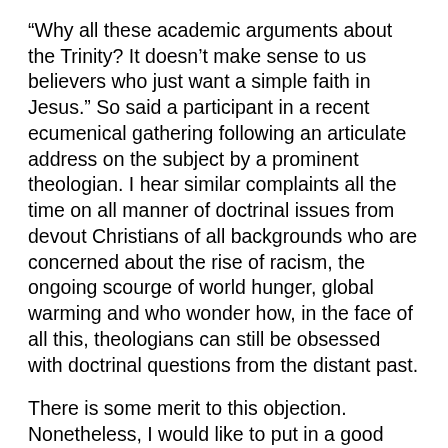“Why all these academic arguments about the Trinity? It doesn’t make sense to us believers who just want a simple faith in Jesus.” So said a participant in a recent ecumenical gathering following an articulate address on the subject by a prominent theologian. I hear similar complaints all the time on all manner of doctrinal issues from devout Christians of all backgrounds who are concerned about the rise of racism, the ongoing scourge of world hunger, global warming and who wonder how, in the face of all this, theologians can still be obsessed with doctrinal questions from the distant past.
There is some merit to this objection. Nonetheless, I would like to put in a good word for the doctrine of the Trinity–and perhaps dogma generally. And let me start by admitting that the doctrine of the Trinity is subtle, complex and difficult to understand. So is